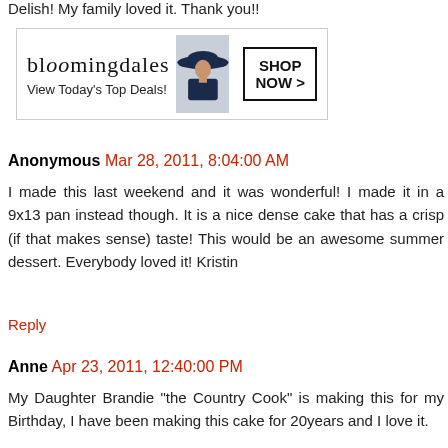Delish! My family loved it. Thank you!!
[Figure (other): Bloomingdale's advertisement banner: 'View Today's Top Deals!' with SHOP NOW > button and image of woman in hat]
Anonymous Mar 28, 2011, 8:04:00 AM
I made this last weekend and it was wonderful! I made it in a 9x13 pan instead though. It is a nice dense cake that has a crisp (if that makes sense) taste! This would be an awesome summer dessert. Everybody loved it! Kristin
Reply
Anne Apr 23, 2011, 12:40:00 PM
My Daughter Brandie "the Country Cook" is making this for my Birthday, I have been making this cake for 20years and I love it.
Reply
[Figure (logo): Blogger 'B' logo orange circle avatar]
Unknown Apr 26, 2011, 11:26:00 AM
This is soooo what I needed to see today!!! We have had nothing